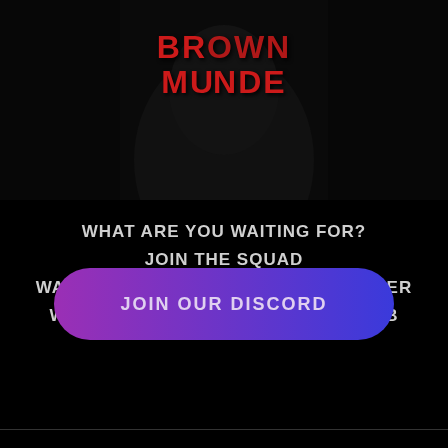[Figure (illustration): Dark background with silhouetted figure and 'BROWN MUNDE' logo text in red at top]
WHAT ARE YOU WAITING FOR?
JOIN THE SQUAD
WATCH US BUILD AN EMPIRE TOGETHER
WE ARE THE DAPPER CHEETAH CLUB
[Figure (other): Gradient button (purple to blue) with text JOIN OUR DISCORD]